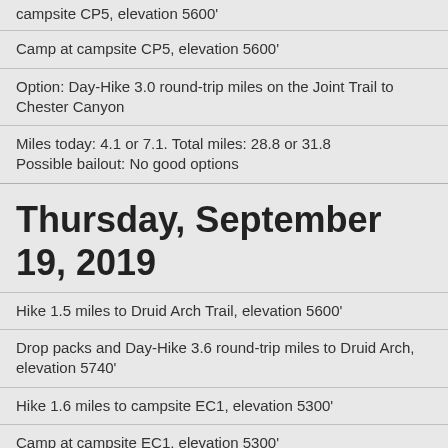campsite CP5, elevation 5600'
Camp at campsite CP5, elevation 5600'
Option: Day-Hike 3.0 round-trip miles on the Joint Trail to Chester Canyon
Miles today: 4.1 or 7.1. Total miles: 28.8 or 31.8 Possible bailout: No good options
Thursday, September 19, 2019
Hike 1.5 miles to Druid Arch Trail, elevation 5600'
Drop packs and Day-Hike 3.6 round-trip miles to Druid Arch, elevation 5740'
Hike 1.6 miles to campsite EC1, elevation 5300'
Camp at campsite EC1, elevation 5300'